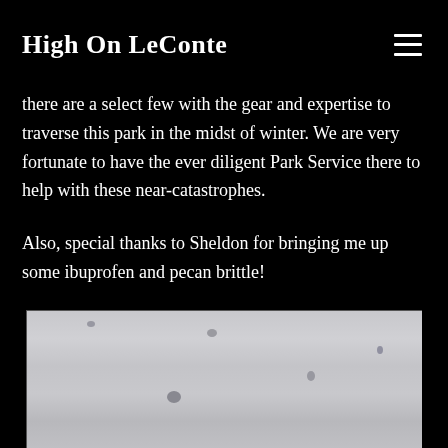High On LeConte
there are a select few with the gear and expertise to traverse this park in the midst of winter. We are very fortunate to have the ever diligent Park Service there to help with these near-catastrophes.
Also, special thanks to Sheldon for bringing me up some ibuprofen and pecan brittle!
[Figure (photo): Snow-covered ground with faint footprints or impressions in the snow, light gray-white snowy landscape]